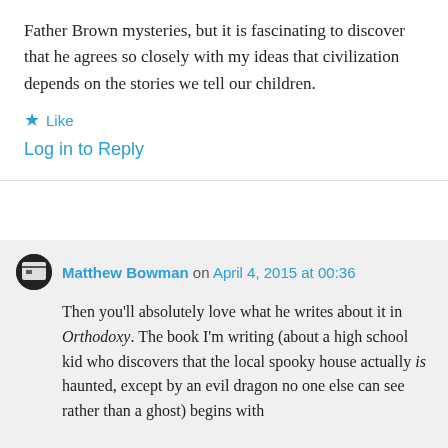Father Brown mysteries, but it is fascinating to discover that he agrees so closely with my ideas that civilization depends on the stories we tell our children.
★ Like
Log in to Reply
Matthew Bowman on April 4, 2015 at 00:36
Then you'll absolutely love what he writes about it in Orthodoxy. The book I'm writing (about a high school kid who discovers that the local spooky house actually is haunted, except by an evil dragon no one else can see rather than a ghost) begins with